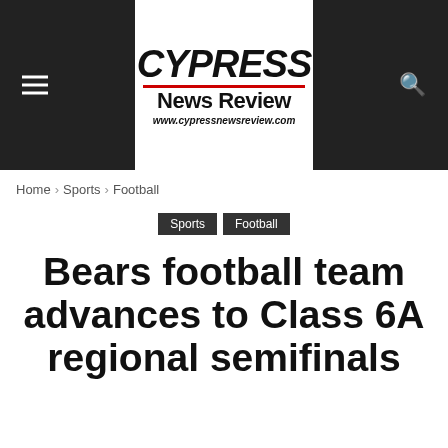CYPRESS News Review www.cypressnewsreview.com
Home › Sports › Football
Sports  Football
Bears football team advances to Class 6A regional semifinals